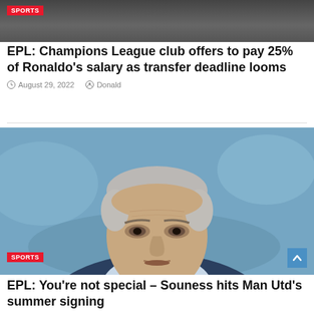[Figure (photo): Top portion of a sports photo showing a person in dark clothing with a red SPORTS badge overlay]
EPL: Champions League club offers to pay 25% of Ronaldo’s salary as transfer deadline looms
August 29, 2022   Donald
[Figure (photo): Close-up portrait of Graeme Souness with a serious expression, wearing a suit, with a blurred stadium background. Red SPORTS badge in bottom left corner and blue scroll-to-top button in bottom right.]
EPL: You’re not special – Souness hits Man Utd’s summer signing